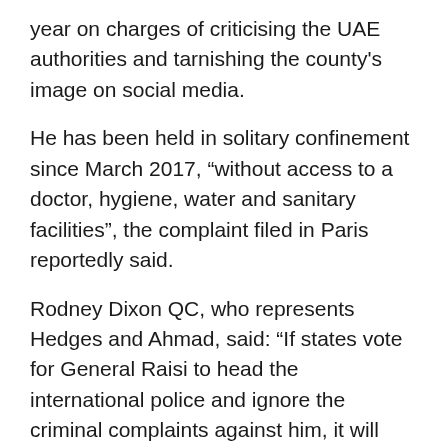year on charges of criticising the UAE authorities and tarnishing the county's image on social media.
He has been held in solitary confinement since March 2017, “without access to a doctor, hygiene, water and sanitary facilities”, the complaint filed in Paris reportedly said.
Rodney Dixon QC, who represents Hedges and Ahmad, said: “If states vote for General Raisi to head the international police and ignore the criminal complaints against him, it will make a mockery of the entire international criminal justice system.”
Interpol is scheduled to elect its next president in November. Al-Raisi, who is a member of Interpol’s executive committee, has said if elected, he would draw on “the UAE’s role as a leader in tech-driven policing,